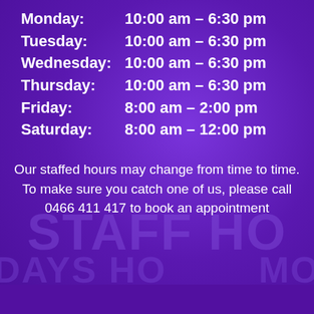Monday:       10:00 am – 6:30 pm
Tuesday:      10:00 am – 6:30 pm
Wednesday: 10:00 am – 6:30 pm
Thursday:    10:00 am – 6:30 pm
Friday:          8:00 am – 2:00 pm
Saturday:     8:00 am – 12:00 pm
Our staffed hours may change from time to time. To make sure you catch one of us, please call 0466 411 417 to book an appointment